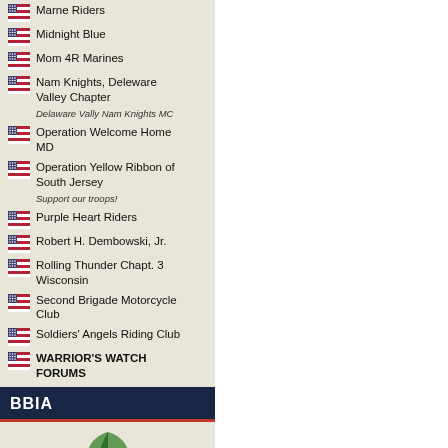Marne Riders
Midnight Blue
Mom 4R Marines
Nam Knights, Deleware Valley Chapter
Delaware Vally Nam Knights MC
Operation Welcome Home MD
Operation Yellow Ribbon of South Jersey
Support our troops!
Purple Heart Riders
Robert H. Dembowski, Jr.
Rolling Thunder Chapt. 3 Wisconsin
Second Brigade Motorcycle Club
Soldiers' Angels Riding Club
WARRIOR'S WATCH FORUMS
BBIA
[Figure (logo): Green leaf/plant logo under BBIA header]